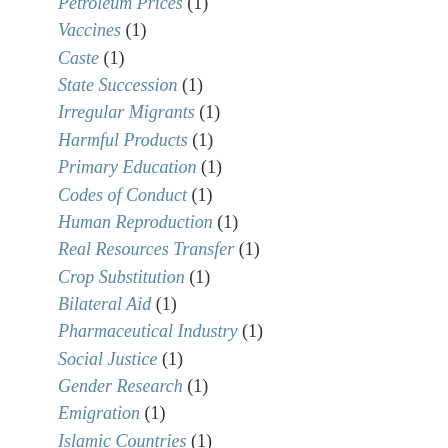Petroleum Prices (1)
Vaccines (1)
Caste (1)
State Succession (1)
Irregular Migrants (1)
Harmful Products (1)
Primary Education (1)
Codes of Conduct (1)
Human Reproduction (1)
Real Resources Transfer (1)
Crop Substitution (1)
Bilateral Aid (1)
Pharmaceutical Industry (1)
Social Justice (1)
Gender Research (1)
Emigration (1)
Islamic Countries (1)
Harmful Traditional (1)
Primary Health Care (1)